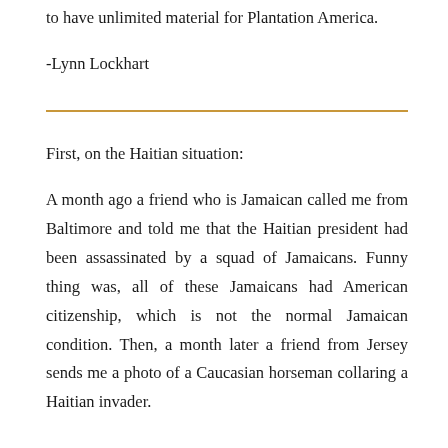to have unlimited material for Plantation America.
-Lynn Lockhart
First, on the Haitian situation:
A month ago a friend who is Jamaican called me from Baltimore and told me that the Haitian president had been assassinated by a squad of Jamaicans. Funny thing was, all of these Jamaicans had American citizenship, which is not the normal Jamaican condition. Then, a month later a friend from Jersey sends me a photo of a Caucasian horseman collaring a Haitian invader.